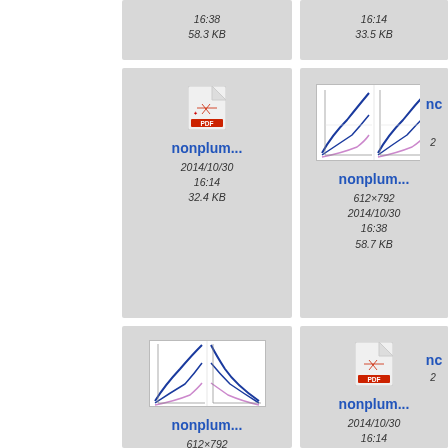[Figure (screenshot): File thumbnail grid showing nonplum... files with dates, sizes, and preview images. Top-left cell shows time 16:38 and size 58.3 KB. Top-right cell shows 16:14 and 33.5 KB. Middle-left cell shows PDF icon thumbnail for nonplum..., date 2014/10/30 16:14, size 32.4 KB. Middle-right cell shows chart thumbnail for nonplum..., 612x792, 2014/10/30 16:38, 58.7 KB. Bottom-left cell shows chart thumbnail for nonplum..., 612x792, 2014/10/30 16:38. Bottom-right cell shows PDF icon for nonplum..., 2014/10/30 16:14.]